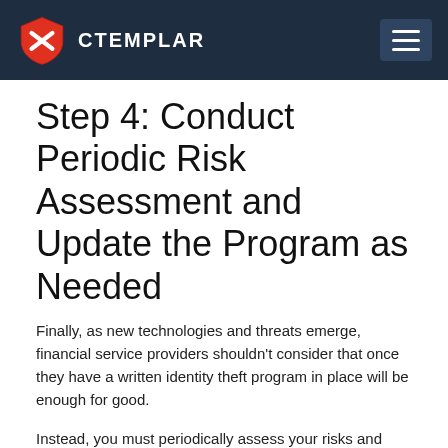CTEMPLAR
Step 4: Conduct Periodic Risk Assessment and Update the Program as Needed
Finally, as new technologies and threats emerge, financial service providers shouldn't consider that once they have a written identity theft program in place will be enough for good.
Instead, you must periodically assess your risks and update the program to reflect new techniques and technologies that identity thieves might use.
Conclusion
Fighting identity theft is a crucial part of data protection